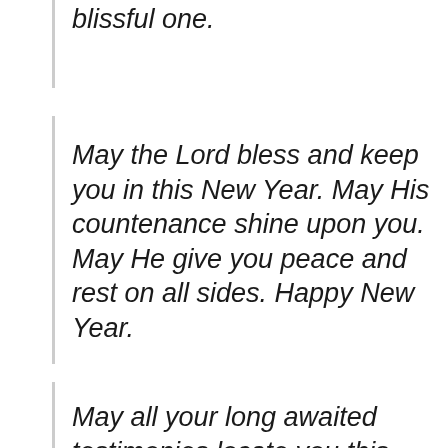Happy New Year friend. Have a blissful one.
May the Lord bless and keep you in this New Year. May His countenance shine upon you. May He give you peace and rest on all sides. Happy New Year.
May all your long awaited testimonies locate you this year. May your heart be filled with gratitude and your mouth with